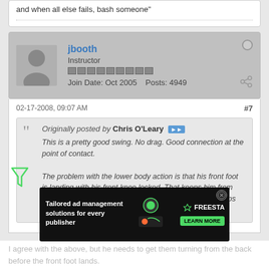and when all else fails, bash someone"
jbooth
Instructor
Join Date: Oct 2005  Posts: 4949
02-17-2008, 09:07 AM  #7
Originally posted by Chris O'Leary
This is a pretty good swing. No drag. Good connection at the point of contact.

The problem with the lower body action is that his front foot is landing with his front knee locked. That keeps him from being able to push back with his front leg and give his hips that extra rotational boost.
What he needs to do is land with his front knee bent slightly and ... of his ...
[Figure (infographic): Advertisement for Tailored ad management solutions for every publisher - Freesta brand with LEARN MORE button]
I agree with the above, but he needs to get them turning from the back before the front foot lands.